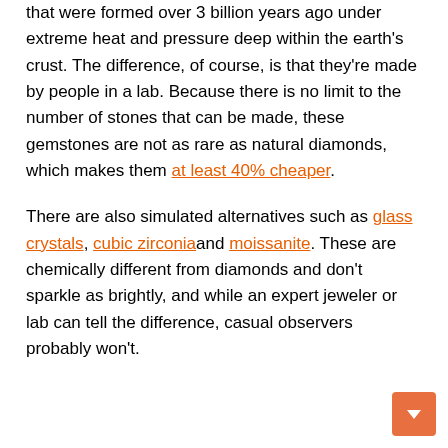that were formed over 3 billion years ago under extreme heat and pressure deep within the earth's crust. The difference, of course, is that they're made by people in a lab. Because there is no limit to the number of stones that can be made, these gemstones are not as rare as natural diamonds, which makes them at least 40% cheaper.
There are also simulated alternatives such as glass crystals, cubic zirconia and moissanite. These are chemically different from diamonds and don't sparkle as brightly, and while an expert jeweler or lab can tell the difference, casual observers probably won't.